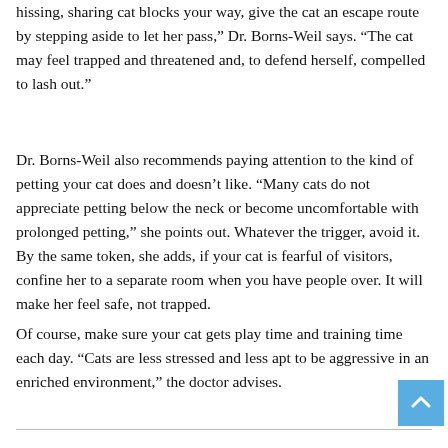hissing, sharing cat blocks your way, give the cat an escape route by stepping aside to let her pass,” Dr. Borns-Weil says. “The cat may feel trapped and threatened and, to defend herself, compelled to lash out.”
Dr. Borns-Weil also recommends paying attention to the kind of petting your cat does and doesn’t like. “Many cats do not appreciate petting below the neck or become uncomfortable with prolonged petting,” she points out. Whatever the trigger, avoid it. By the same token, she adds, if your cat is fearful of visitors, confine her to a separate room when you have people over. It will make her feel safe, not trapped.
Of course, make sure your cat gets play time and training time each day. “Cats are less stressed and less apt to be aggressive in an enriched environment,” the doctor advises.